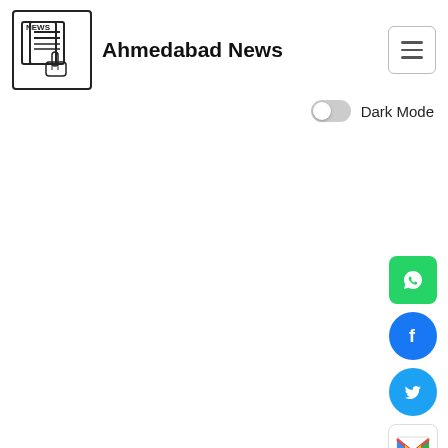[Figure (logo): Ahmedabad News logo: newspaper icon with hand cursor and text 'Ahmedabad News']
[Figure (screenshot): Hamburger menu button (three horizontal lines) in a rounded rectangle border]
[Figure (screenshot): Dark Mode toggle switch (off state) with label 'Dark Mode']
[Figure (infographic): Social sharing icons on right side: WhatsApp (green square), Facebook (blue circle), Twitter (light blue circle), Gmail (M logo), Copy/Clipboard (blue squares)]